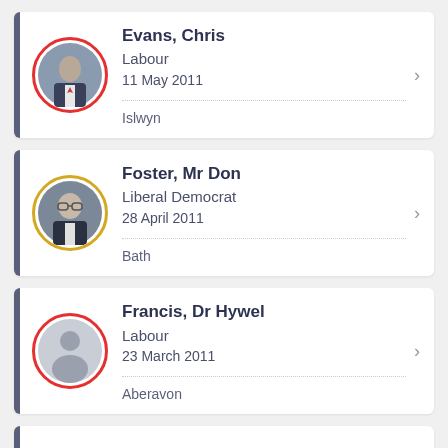[Figure (other): Profile card for Evans, Chris. Labour MP. Red circle avatar with photo of man in suit. Date: 11 May 2011. Constituency: Islwyn.]
[Figure (other): Profile card for Foster, Mr Don. Liberal Democrat MP. Gold circle avatar with photo of older man in suit. Date: 28 April 2011. Constituency: Bath.]
[Figure (other): Profile card for Francis, Dr Hywel. Labour MP. Red circle avatar with placeholder silhouette. Date: 23 March 2011. Constituency: Aberavon.]
[Figure (other): Partial profile card (fourth item, cut off at bottom of page).]